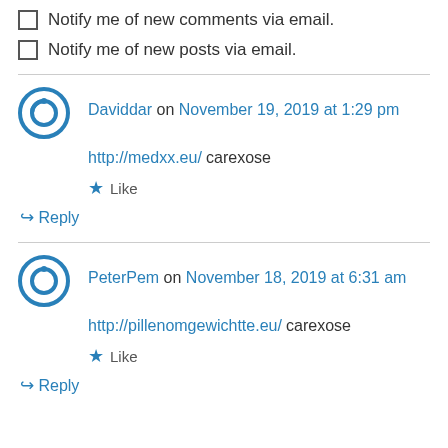Notify me of new comments via email.
Notify me of new posts via email.
Daviddar on November 19, 2019 at 1:29 pm
http://medxx.eu/ carexose
Like
Reply
PeterPem on November 18, 2019 at 6:31 am
http://pillenomgewichtte.eu/ carexose
Like
Reply